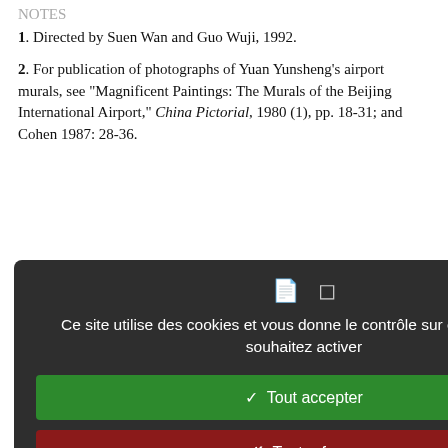NOTES
1. Directed by Suen Wan and Guo Wuji, 1992.
2. For publication of photographs of Yuan Yunsheng's airport murals, see “Magnificent Paintings: The Murals of the Beijing International Airport,” China Pictorial, 1980 (1), pp. 18-31; and Cohen 1987: 28-36.
...val of the burgeoning industry 1988), which led in part in Muslims offended by their ms (Xing Fengsu). In response die” incident, the State banned n house, and arrested the f these publications have been ince 1989.
...ich this film was based, the in a nonminority area, and the uality than with an affirmation e Han woman must become e episode to a minority area, e, further dramatizing the an Chinese culture.
“ethnoreligious group”) in
[Figure (screenshot): Cookie consent modal overlay in French with dark background, containing icons, message text 'Ce site utilise des cookies et vous donne le contrôle sur ceux que vous souhaitez activer', green 'Tout accepter' button, red 'Tout refuser' button, white 'Personnaliser' button, and 'Politique de confidentialité' link.]